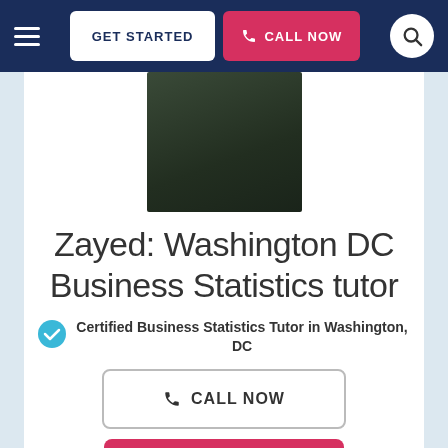GET STARTED | CALL NOW
[Figure (photo): Profile photo of tutor Zayed wearing a dark jacket]
Zayed: Washington DC Business Statistics tutor
Certified Business Statistics Tutor in Washington, DC
CALL NOW
GET STARTED